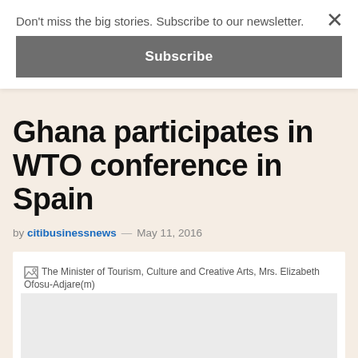Don't miss the big stories. Subscribe to our newsletter.
Subscribe
Ghana participates in WTO conference in Spain
by citibusinessnews — May 11, 2016
[Figure (photo): Broken image placeholder for: The Minister of Tourism, Culture and Creative Arts, Mrs. Elizabeth Ofosu-Adjare(m)]